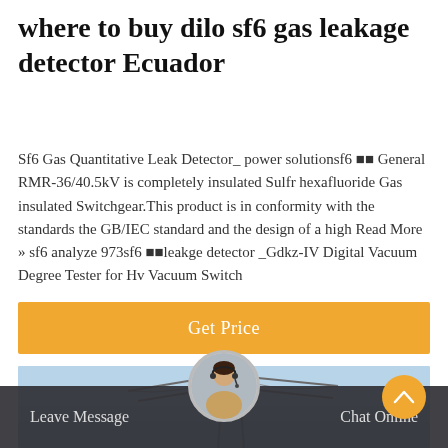where to buy dilo sf6 gas leakage detector Ecuador
Sf6 Gas Quantitative Leak Detector_ power solutionsf6 🔲🔲 General RMR-36/40.5kV is completely insulated Sulfr hexafluoride Gas insulated Switchgear.This product is in conformity with the standards the GB/IEC standard and the design of a high Read More » sf6 analyze 973sf6 🔲🔲leakge detector _Gdkz-IV Digital Vacuum Degree Tester for Hv Vacuum Switch
[Figure (other): Button with orange background and white text reading 'Get Price']
[Figure (photo): Industrial power transmission tower / electrical pylon against a blue sky background]
Leave Message    Chat Online